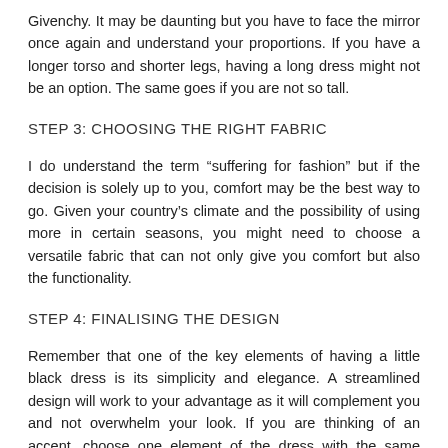Givenchy. It may be daunting but you have to face the mirror once again and understand your proportions. If you have a longer torso and shorter legs, having a long dress might not be an option. The same goes if you are not so tall.
STEP 3: CHOOSING THE RIGHT FABRIC
I do understand the term “suffering for fashion” but if the decision is solely up to you, comfort may be the best way to go. Given your country’s climate and the possibility of using more in certain seasons, you might need to choose a versatile fabric that can not only give you comfort but also the functionality.
STEP 4: FINALISING THE DESIGN
Remember that one of the key elements of having a little black dress is its simplicity and elegance. A streamlined design will work to your advantage as it will complement you and not overwhelm your look. If you are thinking of an accent, choose one element of the dress with the same concept – a belt,